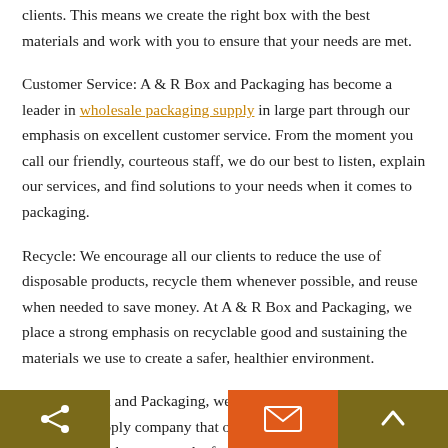clients. This means we create the right box with the best materials and work with you to ensure that your needs are met.
Customer Service: A & R Box and Packaging has become a leader in wholesale packaging supply in large part through our emphasis on excellent customer service. From the moment you call our friendly, courteous staff, we do our best to listen, explain our services, and find solutions to your needs when it comes to packaging.
Recycle: We encourage all our clients to reduce the use of disposable products, recycle them whenever possible, and reuse when needed to save money. At A & R Box and Packaging, we place a strong emphasis on recyclable good and sustaining the materials we use to create a safer, healthier environment.
At A & R Box and Packaging, we are the professional wholesale packaging supply company that offers custom solutions to your business. Whether you need a few boxes to ship some items up to a large-scale packaging design for your products, we are the ones you can trust. Call today and find out about our services in helping your business to find the packaging
[Share] [Email] [Up]